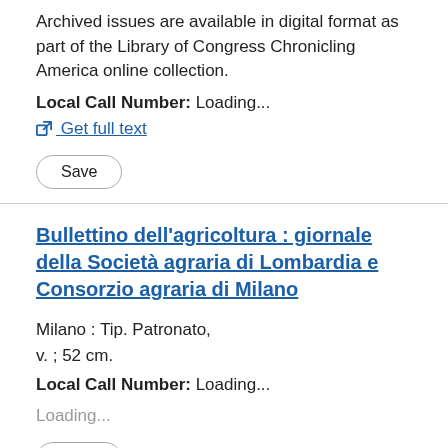Archived issues are available in digital format as part of the Library of Congress Chronicling America online collection.
Local Call Number: Loading...
Get full text
Save
Bullettino dell'agricoltura : giornale della Società agraria di Lombardia e Consorzio agraria di Milano
Milano : Tip. Patronato,
v. ; 52 cm.
Local Call Number: Loading...
Loading...
Save